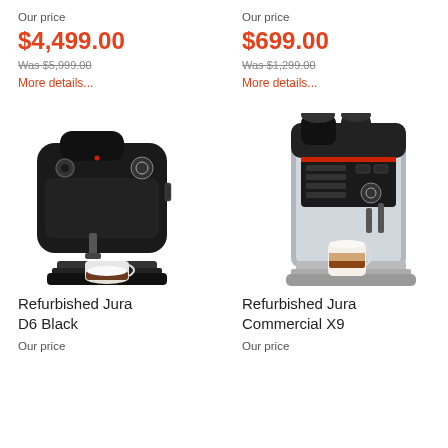Our price
$4,499.00
Was $5,999.00
More details...
Our price
$699.00
Was $1,299.00
More details...
[Figure (photo): Refurbished Jura D6 Black espresso machine — matte black automatic coffee machine with a white frothy cappuccino cup underneath the spout]
[Figure (photo): Refurbished Jura Commercial X9 espresso machine — silver and black commercial automatic coffee machine with a latte macchiato cup underneath]
Refurbished Jura D6 Black
Refurbished Jura Commercial X9
Our price
Our price